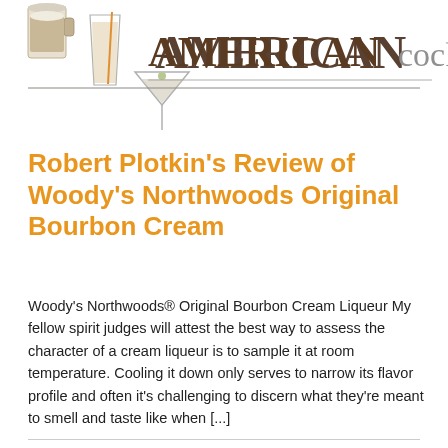[Figure (logo): American Cocktails logo with cocktail glass illustrations and bold text reading AMERICAN cocktails with a decorative rule beneath]
Robert Plotkin's Review of Woody's Northwoods Original Bourbon Cream
Woody's Northwoods® Original Bourbon Cream Liqueur My fellow spirit judges will attest the best way to assess the character of a cream liqueur is to sample it at room temperature. Cooling it down only serves to narrow its flavor profile and often it's challenging to discern what they're meant to smell and taste like when [...]